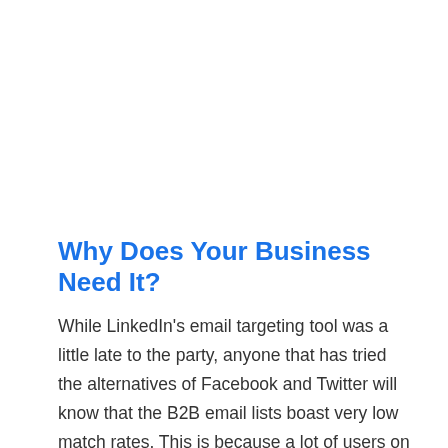Why Does Your Business Need It?
While LinkedIn's email targeting tool was a little late to the party, anyone that has tried the alternatives of Facebook and Twitter will know that the B2B email lists boast very low match rates. This is because a lot of users on those social media sites do not sign up using their work email addresses. In fact, many sign up with email